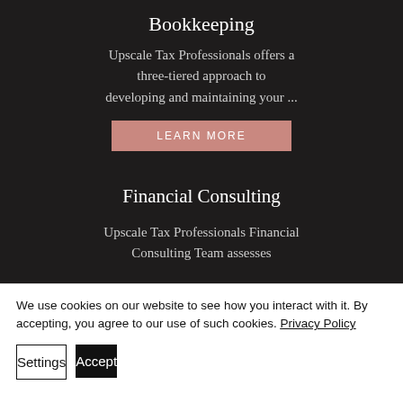Bookkeeping
Upscale Tax Professionals offers a three-tiered approach to developing and maintaining your ...
LEARN MORE
Financial Consulting
Upscale Tax Professionals Financial Consulting Team assesses
We use cookies on our website to see how you interact with it. By accepting, you agree to our use of such cookies. Privacy Policy
Settings
Accept